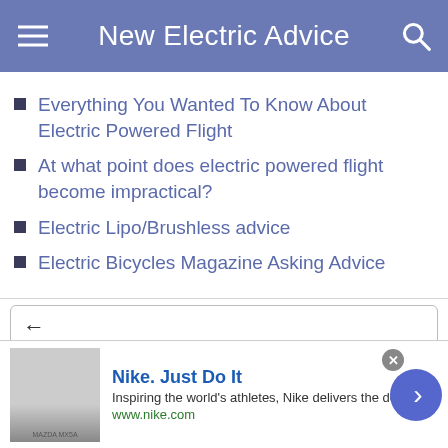New Electric Advice
Everything You Wanted To Know About Electric Powered Flight
At what point does electric powered flight become impractical?
Electric Lipo/Brushless advice
Electric Bicycles Magazine Asking Advice
Back to Subforum
Batteries & Chargers
View Next Unread
LiPo and dud cells   Note first sentence of po...
[Figure (screenshot): Nike advertisement overlay with logo image, text 'Nike. Just Do It', tagline 'Inspiring the world's athletes, Nike delivers the deals', URL 'www.nike.com', close button, and forward arrow button]